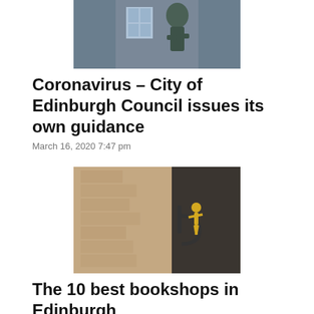[Figure (photo): Statue or sculpture against a stone building facade, partially visible at top]
Coronavirus – City of Edinburgh Council issues its own guidance
March 16, 2020 7:47 pm
[Figure (photo): Golden figurine or sign bracket on the exterior of a stone building]
The 10 best bookshops in Edinburgh
May 27, 2018 6:40 am
Our photos
[Figure (photo): Three thumbnail photos in a row, partially visible at the bottom of the page]